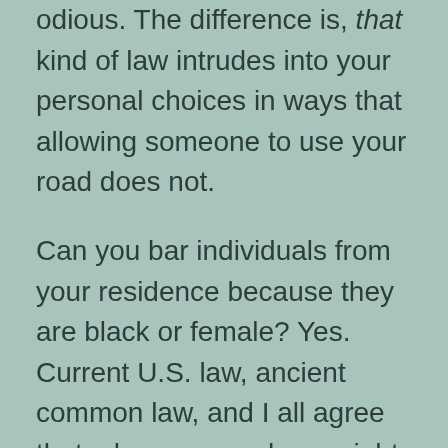odious. The difference is, that kind of law intrudes into your personal choices in ways that allowing someone to use your road does not.
Can you bar individuals from your residence because they are black or female? Yes. Current U.S. law, ancient common law, and I all agree that a homeowner has a right to control personal space that trumps other claims.
Now let’s go to cyberspace. How do these principles apply to defining public space there? In practice, laws across jurisdictions in